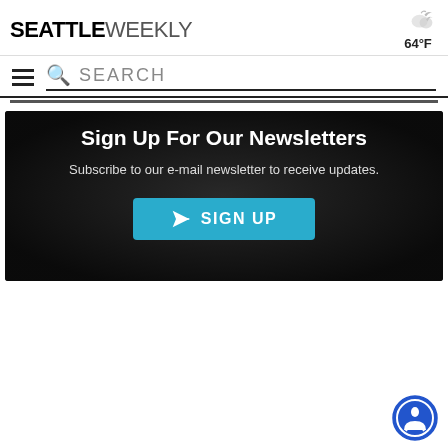SEATTLE WEEKLY  64°F
SEARCH
Sign Up For Our Newsletters
Subscribe to our e-mail newsletter to receive updates.
SIGN UP